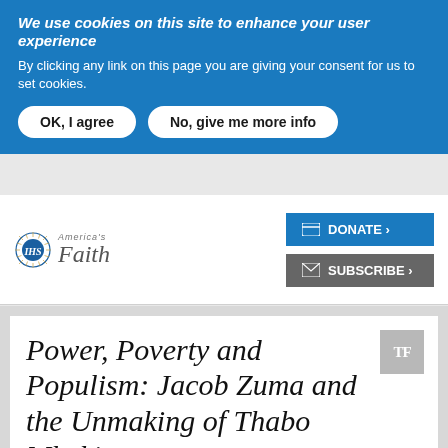We use cookies on this site to enhance your user experience
By clicking any link on this page you are giving your consent for us to set cookies.
OK, I agree
No, give me more info
[Figure (logo): America magazine - Faith logo with IHS emblem]
DONATE ›
SUBSCRIBE ›
Power, Poverty and Populism: Jacob Zuma and the Unmaking of Thabo Mbeki